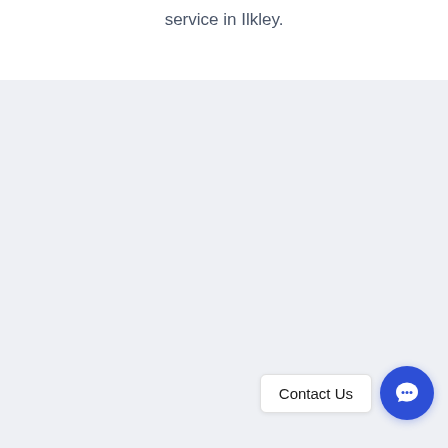service in Ilkley.
[Figure (other): Contact Us chat widget button with speech bubble icon in blue circle, positioned at bottom right of page]